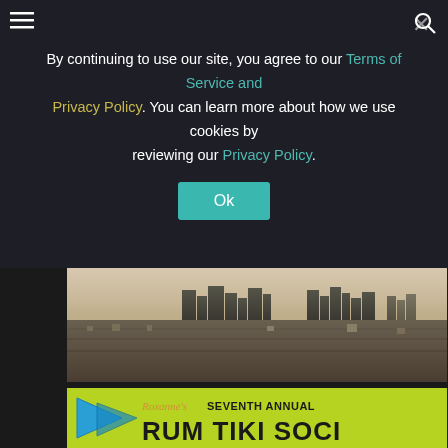By continuing to use our site, you agree to our Terms of Service and Privacy Policy. You can learn more about how we use cookies by reviewing our Privacy Policy.
[Figure (photo): Aerial cityscape of Los Angeles skyline with downtown skyscrapers visible in the background and dense urban residential sprawl in the foreground, hazy sky]
[Figure (photo): Event banner for Roxanne's Seventh Annual Rum Tiki Social with yellow-green background and stylized text]